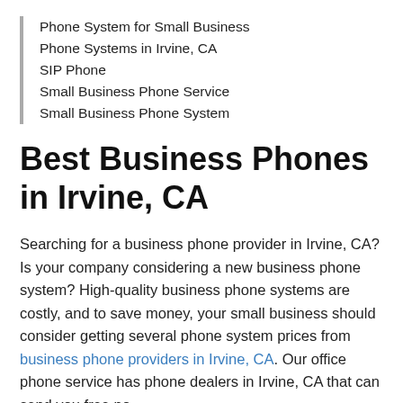Phone System for Small Business
Phone Systems in Irvine, CA
SIP Phone
Small Business Phone Service
Small Business Phone System
Best Business Phones in Irvine, CA
Searching for a business phone provider in Irvine, CA? Is your company considering a new business phone system? High-quality business phone systems are costly, and to save money, your small business should consider getting several phone system prices from business phone providers in Irvine, CA. Our office phone service has phone dealers in Irvine, CA that can send you free no-obligation quotes for business PBX systems, business...